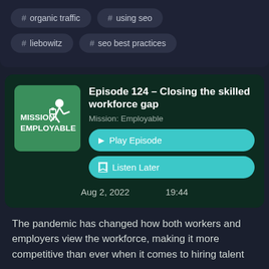# organic traffic
# using seo
# liebowitz
# seo best practices
Episode 124 – Closing the skilled workforce gap
Mission: Employable
▶ Play Episode
☐ Listen Later
Aug 2, 2022    19:44
The pandemic has changed how both workers and employers view the workforce, making it more competitive than ever when it comes to hiring talent